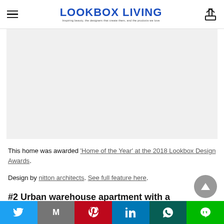LOOKBOX LIVING — Inspiring beauty, the designers that create them, and the products we love
[Figure (photo): Light grey rectangular advertisement or image placeholder area]
This home was awarded 'Home of the Year' at the 2018 Lookbox Design Awards.
Design by nitton architects. See full feature here.
#2 Urban warehouse apartment with a
Social share bar: Twitter, Gmail, Pinterest, LinkedIn, WhatsApp, Line